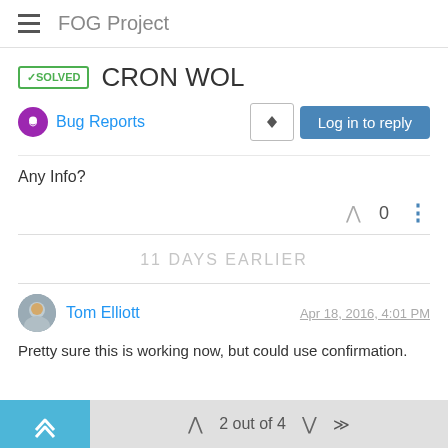FOG Project
✓SOLVED  CRON WOL
Bug Reports
Any Info?
0
11 DAYS EARLIER
Tom Elliott  Apr 18, 2016, 4:01 PM
Pretty sure this is working now, but could use confirmation.
2 out of 4